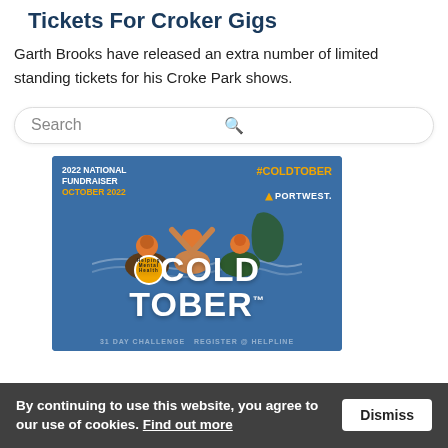Tickets For Croker Gigs
Garth Brooks have released an extra number of limited standing tickets for his Croke Park shows.
[Figure (screenshot): Search bar with placeholder text 'Search' and a magnifying glass icon on the right]
[Figure (illustration): Coldtober 2022 National Fundraiser ad banner with blue background, three people swimming, map of Ireland, #COLDTOBER and PORTWEST logos, and 'COLD TOBER' text with Helping Mental Health logo]
By continuing to use this website, you agree to our use of cookies. Find out more  Dismiss